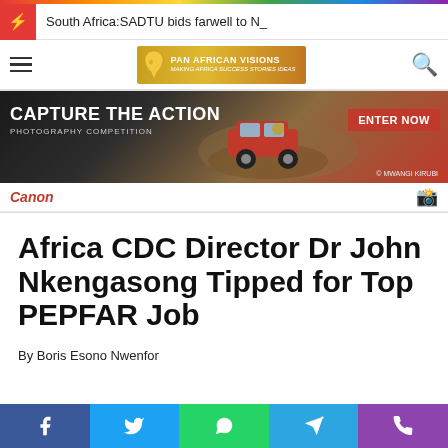South Africa:SADTU bids farwell to N_
[Figure (logo): Pan African Visions logo with African continent silhouette and tagline 'Making Africa Success Stories Ideas']
[Figure (photo): Canon 'Capture The Action Photography Competition' advertisement banner with rally car action photo and 'Enter Now' button]
Africa CDC Director Dr John Nkengasong Tipped for Top PEPFAR Job
By Boris Esono Nwenfor